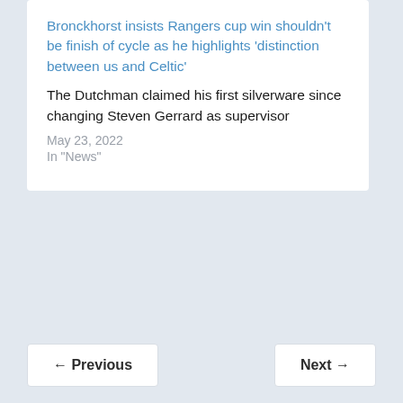Bronckhorst insists Rangers cup win shouldn't be finish of cycle as he highlights 'distinction between us and Celtic'
The Dutchman claimed his first silverware since changing Steven Gerrard as supervisor
May 23, 2022
In "News"
← Previous
Next →